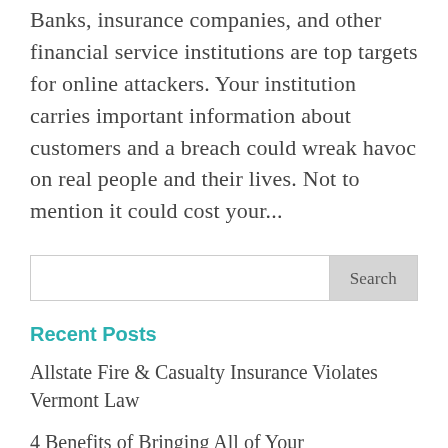Banks, insurance companies, and other financial service institutions are top targets for online attackers. Your institution carries important information about customers and a breach could wreak havoc on real people and their lives. Not to mention it could cost your...
Search
Recent Posts
Allstate Fire & Casualty Insurance Violates Vermont Law
4 Benefits of Bringing All of Your